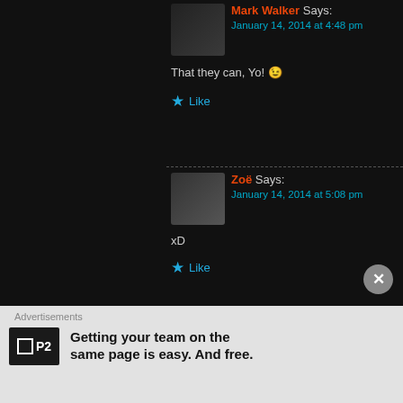Mark Walker Says:
January 14, 2014 at 4:48 pm

That they can, Yo! 😉

★ Like
Zoë Says:
January 14, 2014 at 5:08 pm

xD

★ Like
Morgan R. Lewis Says:
January 14, 2014 at 10:24 am

Been hearing a lot of good things about this, even before the to get a little more insight into the quality of it. Good review,

Also, chalk up another reason to be saddened by Belushi's c a pretty cool film.
Advertisements
Getting your team on the same page is easy. And free.